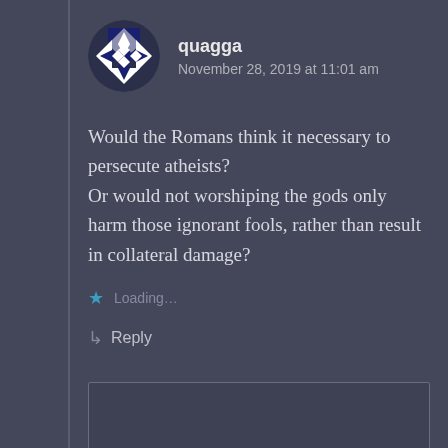[Figure (illustration): Circular avatar with dark blue and white geometric/diamond pattern, resembling a snowflake or quilt design]
quagga
November 28, 2019 at 11:01 am
Would the Romans think it necessary to persecute atheists?
Or would not worshiping the gods only harm those ignorant fools, rather than result in collateral damage?
Loading...
Reply